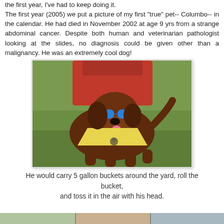the first year, I've had to keep doing it. The first year (2005) we put a picture of my first "true" pet-- Columbo-- in the calendar. He had died in November 2002 at age 9 yrs from a strange abdominal cancer. Despite both human and veterinarian pathologist looking at the slides, no diagnosis could be given other than a malignancy. He was an extremely cool dog!
[Figure (photo): A chocolate Labrador dog wearing blue sunglasses and a yellow bandana, standing on grass with a person in a red shirt partially visible behind the dog.]
He would carry 5 gallon buckets around the yard, roll the bucket, and toss it in the air with his head.
[Figure (photo): Partial view of another photo at the bottom of the page, showing a light background scene, partially cut off.]